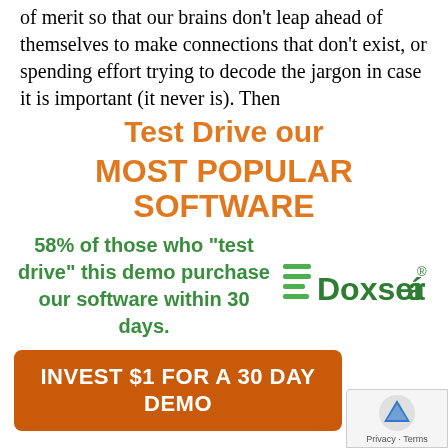of merit so that our brains don't leap ahead of themselves to make connections that don't exist, or spending effort trying to decode the jargon in case it is important (it never is). Then
Test Drive our
MOST POPULAR SOFTWARE
58% of those who "test drive" this demo purchase our software within 30 days.
[Figure (logo): Doxserá logo with green icon and green/dark text]
[Figure (infographic): Orange rounded rectangle button with white bold text: INVEST $1 FOR A 30 DAY DEMO]
The added benefit of the approach is that there is a problem with the program it becomes very easy to communicate the